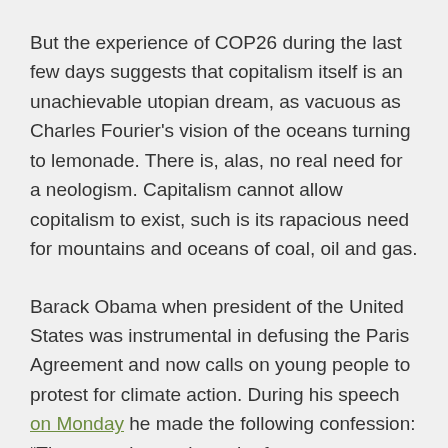But the experience of COP26 during the last few days suggests that copitalism itself is an unachievable utopian dream, as vacuous as Charles Fourier's vision of the oceans turning to lemonade. There is, alas, no real need for a neologism. Capitalism cannot allow copitalism to exist, such is its rapacious need for mountains and oceans of coal, oil and gas.
Barack Obama when president of the United States was instrumental in defusing the Paris Agreement and now calls on young people to protest for climate action. During his speech on Monday he made the following confession: “There are times where the future seems somewhat bleak. There are times where I am doubtful that humanity can get its act